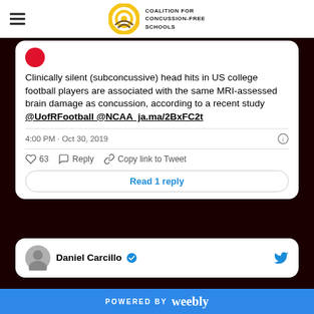Coalition for Concussion-Free Schools
[Figure (screenshot): Tweet card: Clinically silent (subconcussive) head hits in US college football players are associated with the same MRI-assessed brain damage as concussion, according to a recent study @UofRFootball @NCAA ja.ma/2BxFC2t. 4:00 PM · Oct 30, 2019. 63 likes. Reply. Copy link to Tweet. Read 1 reply.]
[Figure (screenshot): Partial tweet card showing Daniel Carcillo with verified badge and Twitter bird icon.]
POWERED BY weebly